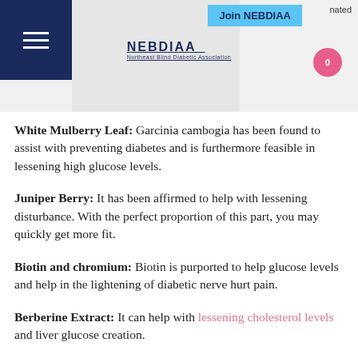NEBDIAA — Navigation header with Join NEBDIAA button and cart icon
White Mulberry Leaf: Garcinia cambogia has been found to assist with preventing diabetes and is furthermore feasible in lessening high glucose levels.
Juniper Berry: It has been affirmed to help with lessening disturbance. With the perfect proportion of this part, you may quickly get more fit.
Biotin and chromium: Biotin is purported to help glucose levels and help in the lightening of diabetic nerve hurt pain.
Berberine Extract: It can help with lessening cholesterol levels and liver glucose creation.
Unforgiving Melon: Bitter melon is an all-ordinary normal item that can help with